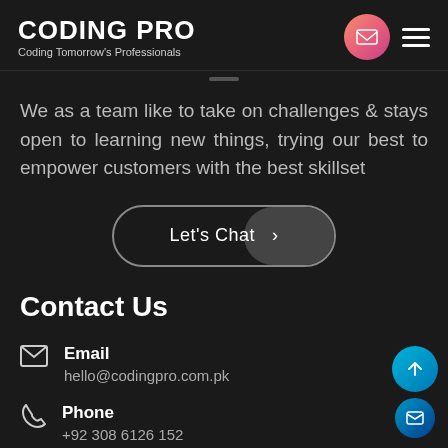CODING PRO
Coding Tomorrow's Professionals
We as a team like to take on challenges & stays open to learning new things, trying our best to empower customers with the best skillset
Let's Chat >
Contact Us
Email
hello@codingpro.com.pk
Phone
+92 308 6126 152